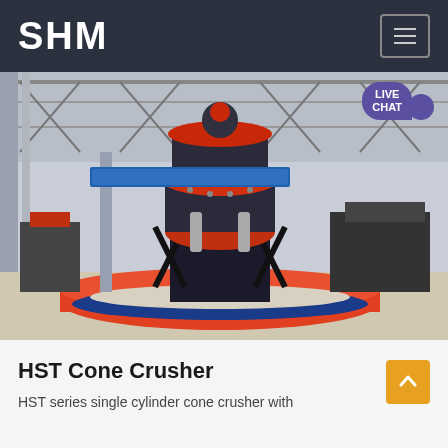SHM
[Figure (photo): HST single cylinder cone crusher machine displayed in an industrial factory/exhibition hall. The crusher is a large cylindrical machine with red and black coloring, mounted on a black metal frame on a circular red and blue display platform, surrounded by gravel. Industrial steel structure and other machinery visible in background.]
HST Cone Crusher
HST series single cylinder cone crusher with